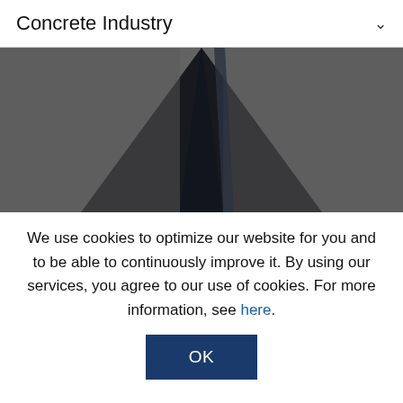Concrete Industry
[Figure (photo): Dark architectural photo showing the underside of a concrete structure or bridge, with a dark triangular/V-shaped form against a grey background.]
We use cookies to optimize our website for you and to be able to continuously improve it. By using our services, you agree to our use of cookies. For more information, see here.
OK